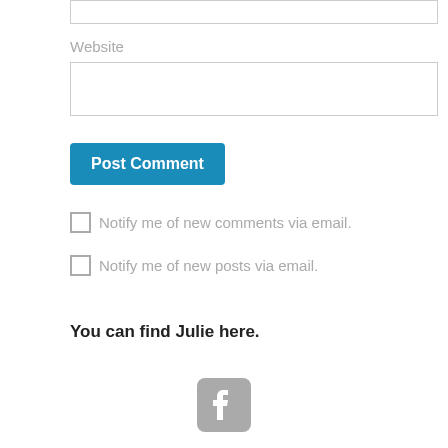Website
Post Comment
Notify me of new comments via email.
Notify me of new posts via email.
You can find Julie here.
[Figure (logo): Facebook logo icon in grey]